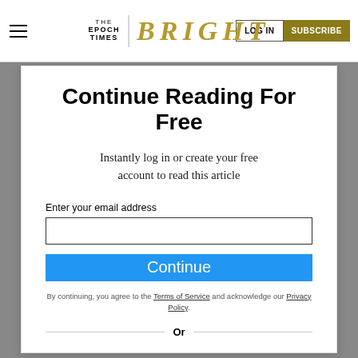THE EPOCH TIMES | BRIGHT | LOG IN | SUBSCRIBE
Continue Reading For Free
Instantly log in or create your free account to read this article
Enter your email address
Continue
By continuing, you agree to the Terms of Service and acknowledge our Privacy Policy.
Or